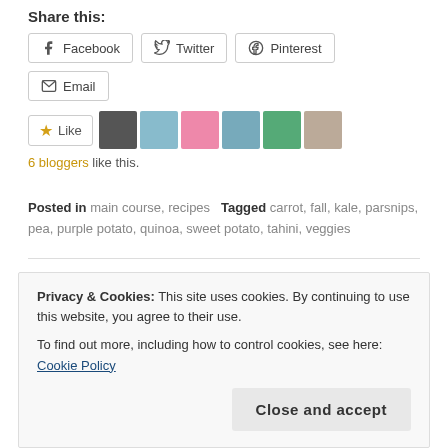Share this:
[Figure (infographic): Social share buttons: Facebook, Twitter, Pinterest, Email]
[Figure (infographic): Like button with star icon and 6 blogger avatars]
6 bloggers like this.
Posted in main course, recipes   Tagged carrot, fall, kale, parsnips, pea, purple potato, quinoa, sweet potato, tahini, veggies
← Chipotle Black Bean Burger    Pumpkin Spice Bars →
Privacy & Cookies: This site uses cookies. By continuing to use this website, you agree to their use.
To find out more, including how to control cookies, see here: Cookie Policy
Close and accept